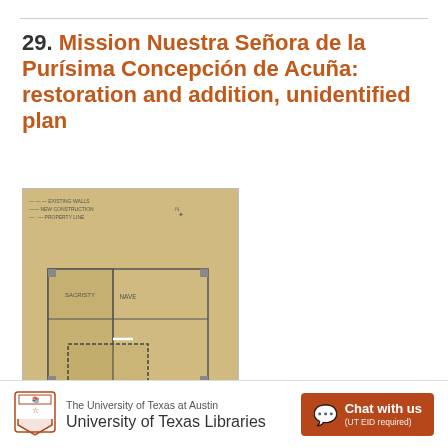29. Mission Nuestra Señora de la Purísima Concepción de Acuña: restoration and addition, unidentified plan
[Figure (engineering-diagram): Architectural floor plan drawing on aged parchment paper showing a building restoration and addition plan for Mission Nuestra Señora de la Purísima Concepción de Acuña. The drawing includes structural outlines, cross-sections, and some handwritten annotations in pencil.]
Source Collection:
Ayres and Ayres Architects collection
The University of Texas at Austin University of Texas Libraries  Chat with us (UT EID required)